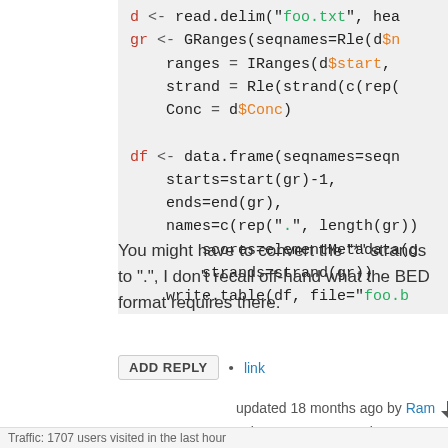You might have to convert the "*" strands to ".", I don't recall off-hand what the BED format requires there.
ADD REPLY • link
updated 18 months ago by Ram ⚡ 36k • written 8.6 years ago by Devon Ryan ⚡
Traffic: 1707 users visited in the last hour